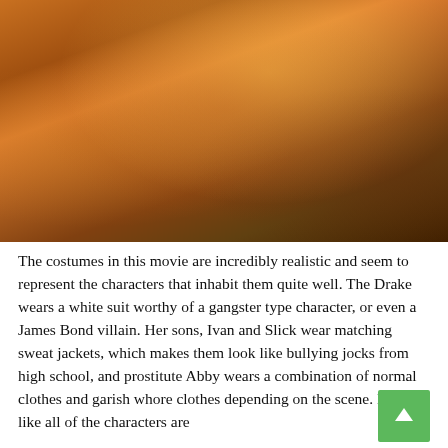[Figure (photo): A woman with blonde curly hair wearing a black leather jacket with arms crossed, standing in a dark, warm orange-lit nightclub or bar scene. Another person in a striped shirt is visible to the left.]
The costumes in this movie are incredibly realistic and seem to represent the characters that inhabit them quite well. The Drake wears a white suit worthy of a gangster type character, or even a James Bond villain. Her sons, Ivan and Slick wear matching sweat jackets, which makes them look like bullying jocks from high school, and prostitute Abby wears a combination of normal clothes and garish whore clothes depending on the scene. It looks like all of the characters are